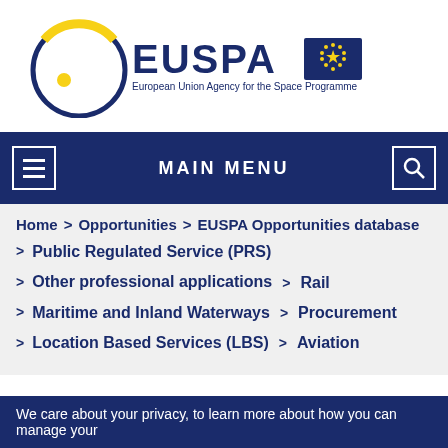[Figure (logo): EUSPA logo - European Union Agency for the Space Programme with EU flag]
MAIN MENU
Home > Opportunities > EUSPA Opportunities database
> Public Regulated Service (PRS)
> Other professional applications > Rail
> Maritime and Inland Waterways > Procurement
> Location Based Services (LBS) > Aviation
We care about your privacy, to learn more about how you can manage your